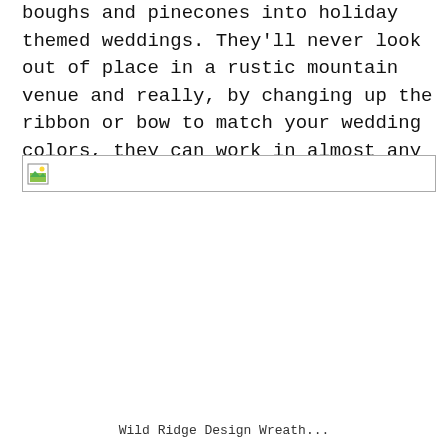boughs and pinecones into holiday themed weddings. They'll never look out of place in a rustic mountain venue and really, by changing up the ribbon or bow to match your wedding colors, they can work in almost any season!
[Figure (photo): Broken/missing image placeholder with small green image icon]
Wild Ridge Design Wreath...